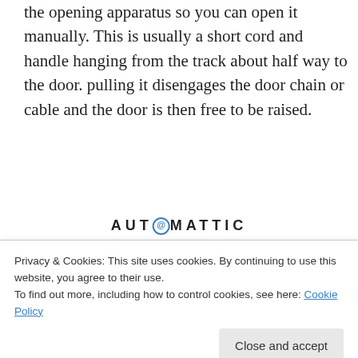the opening apparatus so you can open it manually. This is usually a short cord and handle hanging from the track about half way to the door. pulling it disengages the door chain or cable and the door is then free to be raised.
[Figure (logo): Automattic logo with circular 'at' symbol replacing the letter O]
[Figure (infographic): Automattic ad banner: 'Build a better web and a better world.' with an Apply button and a circular photo of a person]
Privacy & Cookies: This site uses cookies. By continuing to use this website, you agree to their use.
To find out more, including how to control cookies, see here: Cookie Policy
Close and accept
Overhead door remote operation should be checked